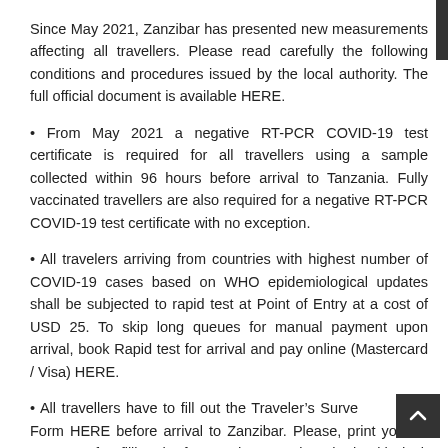Since May 2021, Zanzibar has presented new measurements affecting all travellers. Please read carefully the following conditions and procedures issued by the local authority. The full official document is available HERE.
• From May 2021 a negative RT-PCR COVID-19 test certificate is required for all travellers using a sample collected within 96 hours before arrival to Tanzania. Fully vaccinated travellers are also required for a negative RT-PCR COVID-19 test certificate with no exception.
• All travelers arriving from countries with highest number of COVID-19 cases based on WHO epidemiological updates shall be subjected to rapid test at Point of Entry at a cost of USD 25. To skip long queues for manual payment upon arrival, book Rapid test for arrival and pay online (Mastercard / Visa) HERE.
• All travellers have to fill out the Traveler&rsquo;s Surveillance Form HERE before arrival to Zanzibar. Please, print your form after filling the form and present it to the health desk upon